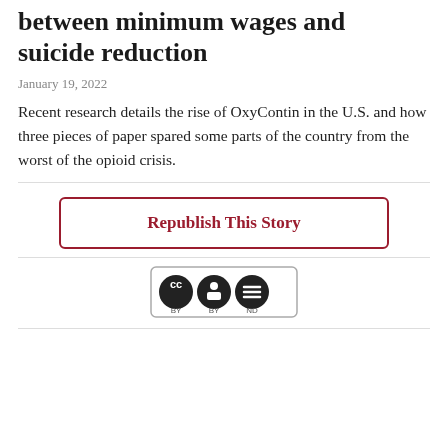between minimum wages and suicide reduction
January 19, 2022
Recent research details the rise of OxyContin in the U.S. and how three pieces of paper spared some parts of the country from the worst of the opioid crisis.
Republish This Story
[Figure (logo): Creative Commons CC BY ND license badge]